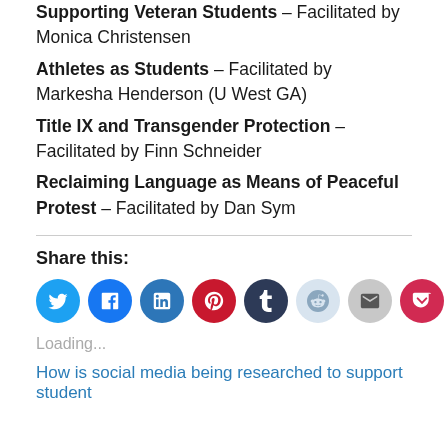Supporting Veteran Students – Facilitated by Monica Christensen
Athletes as Students – Facilitated by Markesha Henderson (U West GA)
Title IX and Transgender Protection – Facilitated by Finn Schneider
Reclaiming Language as Means of Peaceful Protest – Facilitated by Dan Sym
Share this:
[Figure (other): Social media sharing icons: Twitter, Facebook, LinkedIn, Pinterest, Tumblr, Reddit, Email, Pocket, and a More button]
Loading...
How is social media being researched to support student